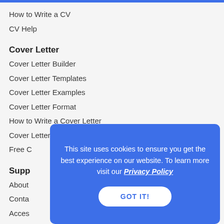How to Write a CV
CV Help
Cover Letter
Cover Letter Builder
Cover Letter Templates
Cover Letter Examples
Cover Letter Format
How to Write a Cover Letter
Cover Letter Help
Free C…
Supp…
About
Conta…
Acces…
Privac…
Terms
Cookies & Tracking Policy
This site uses cookies to ensure you get the best experience on our website. To learn more visit our Privacy Policy
GOT IT!